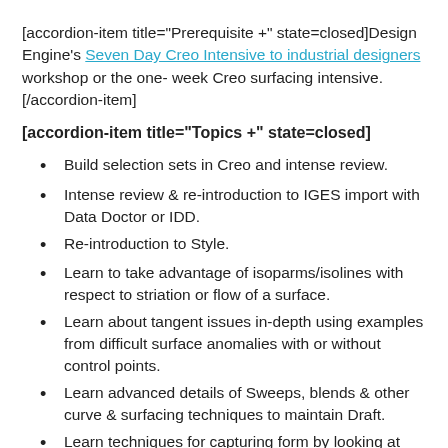[accordion-item title="Prerequisite +" state=closed]Design Engine's Seven Day Creo Intensive to industrial designers workshop or the one- week Creo surfacing intensive. [/accordion-item]
[accordion-item title="Topics +" state=closed]
Build selection sets in Creo and intense review.
Intense review & re-introduction to IGES import with Data Doctor or IDD.
Re-introduction to Style.
Learn to take advantage of isoparms/isolines with respect to striation or flow of a surface.
Learn about tangent issues in-depth using examples from difficult surface anomalies with or without control points.
Learn advanced details of Sweeps, blends & other curve & surfacing techniques to maintain Draft.
Learn techniques for capturing form by looking at